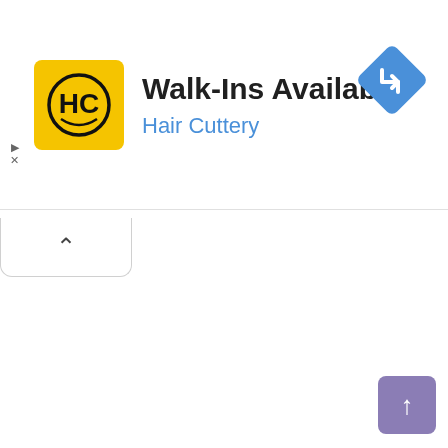[Figure (screenshot): Hair Cuttery advertisement banner with yellow HC logo, text 'Walk-Ins Available' and 'Hair Cuttery' in blue, with a blue navigation direction diamond icon on the right, ad controls (play/close) on the top left, an expand chevron button below the banner, and a purple scroll-to-top arrow button at bottom right.]